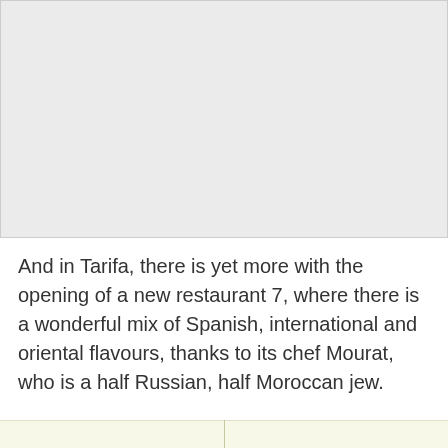[Figure (photo): A large light gray rectangular image placeholder occupying the top portion of the page.]
And in Tarifa, there is yet more with the opening of a new restaurant 7, where there is a wonderful mix of Spanish, international and oriental flavours, thanks to its chef Mourat, who is a half Russian, half Moroccan jew.